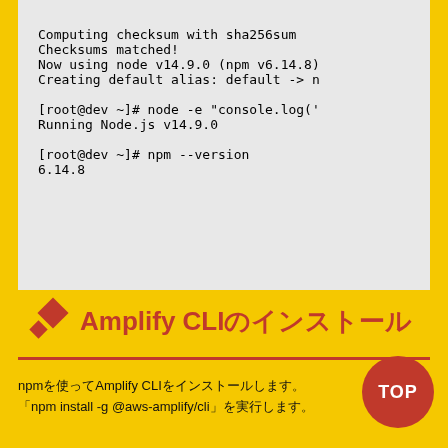[Figure (screenshot): Terminal/code block showing: Computing checksum with sha256sum, Checksums matched!, Now using node v14.9.0 (npm v6.14.8), Creating default alias: default -> n, [root@dev ~]# node -e "console.log('", Running Node.js v14.9.0, [root@dev ~]# npm --version, 6.14.8]
Amplify CLIのインストール
npmを使ってAmplify CLIをインストールします。
「npm install -g @aws-amplify/cli」を実行します。